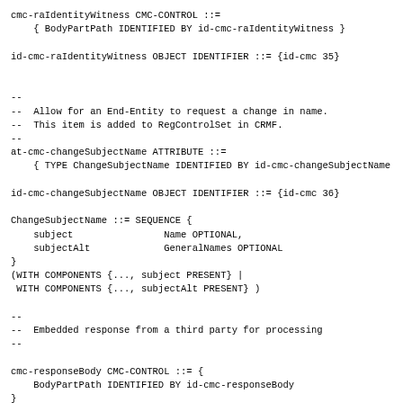cmc-raIdentityWitness CMC-CONTROL ::=
    { BodyPartPath IDENTIFIED BY id-cmc-raIdentityWitness }

id-cmc-raIdentityWitness OBJECT IDENTIFIER ::= {id-cmc 35}


--
--  Allow for an End-Entity to request a change in name.
--  This item is added to RegControlSet in CRMF.
--
at-cmc-changeSubjectName ATTRIBUTE ::=
    { TYPE ChangeSubjectName IDENTIFIED BY id-cmc-changeSubjectName

id-cmc-changeSubjectName OBJECT IDENTIFIER ::= {id-cmc 36}

ChangeSubjectName ::= SEQUENCE {
    subject                Name OPTIONAL,
    subjectAlt             GeneralNames OPTIONAL
}
(WITH COMPONENTS {..., subject PRESENT} |
 WITH COMPONENTS {..., subjectAlt PRESENT} )

--
--  Embedded response from a third party for processing
--

cmc-responseBody CMC-CONTROL ::= {
    BodyPartPath IDENTIFIED BY id-cmc-responseBody
}

id-cmc-responseBody OBJECT IDENTIFIER ::= {id-cmc 37}

--
--  Key purpose identifiers are in the Extended Key Usage extension
--

id-kp-cmcCA OBJECT IDENTIFIER ::= { id-kp 27 }